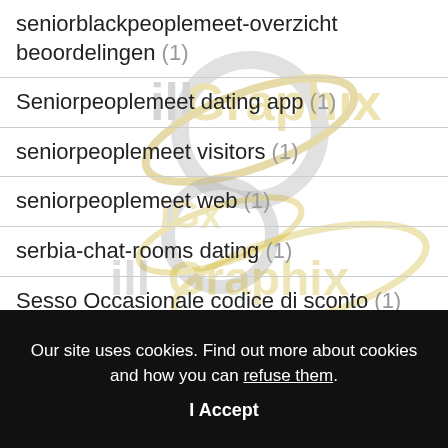seniorblackpeoplemeet-overzicht beoordelingen (1)
Seniorpeoplemeet dating app (1)
seniorpeoplemeet visitors (1)
seniorpeoplemeet web (1)
serbia-chat-rooms dating (1)
Sesso Occasionale codice di sconto (1)
Our site uses cookies. Find out more about cookies and how you can refuse them.
I Accept